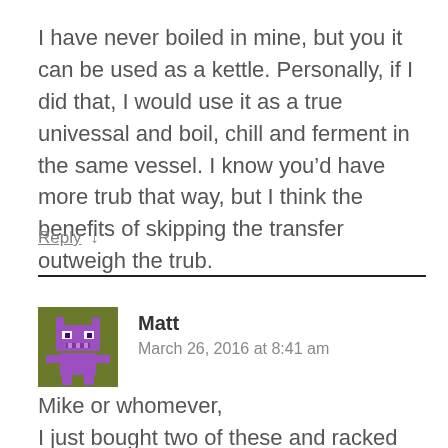I have never boiled in mine, but you it can be used as a kettle. Personally, if I did that, I would use it as a true univessal and boil, chill and ferment in the same vessel. I know you’d have more trub that way, but I think the benefits of skipping the transfer outweigh the trub.
Reply ↓
[Figure (illustration): Pixel art avatar of a purple robot/character on olive green background]
Matt
March 26, 2016 at 8:41 am
Mike or whomever,
I just bought two of these and racked my first 5 gallon